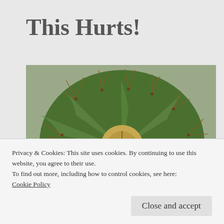This Hurts!
[Figure (photo): Close-up photograph of a green barrel cactus viewed from above, showing the spiral arrangement of spines and ribs, with gravel/rocks visible around the base.]
Privacy & Cookies: This site uses cookies. By continuing to use this website, you agree to their use.
To find out more, including how to control cookies, see here:
Cookie Policy
Close and accept